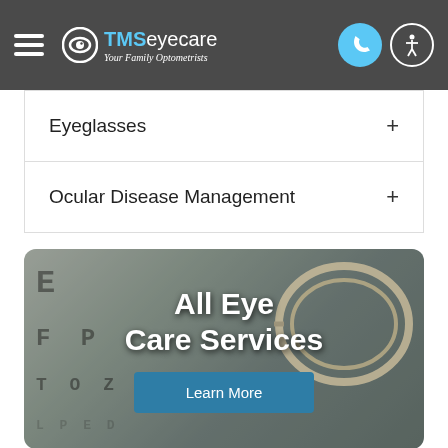TMS Eyecare — Your Family Optometrists
Eyeglasses
Ocular Disease Management
[Figure (photo): Background photo of an eye chart with optometry trial lens frames overlaid, with text 'All Eye Care Services' and a 'Learn More' button]
All Eye Care Services
Learn More